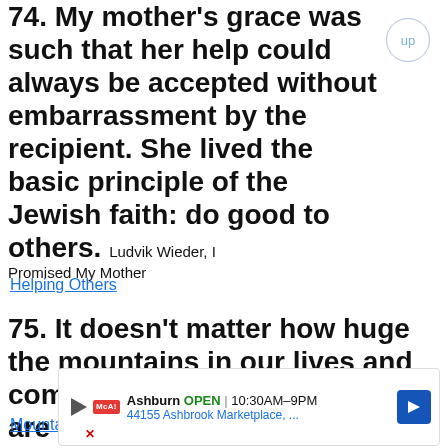74. My mother's grace was such that her help could always be accepted without embarrassment by the recipient. She lived the basic principle of the Jewish faith: do good to others. Ludvik Wieder, I Promised My Mother
Helping Others
75. It doesn't matter how huge the mountains in our lives and communities seem to be, they are nothing for the woman or man of faith. Sammy Tippit, The Approaching Darkness
Mountain
[Figure (other): Advertisement banner for McAlister's Deli in Ashburn, showing OPEN 10:30AM-9PM, 44155 Ashbrook Marketplace, with navigation arrow icon]